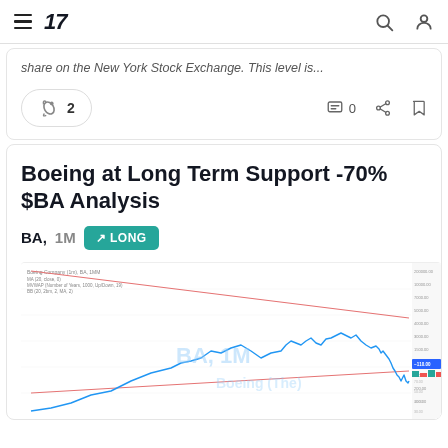TradingView navigation bar with logo, search, and user icons
share on the New York Stock Exchange. This level is...
🚀 2   💬 0   share   bookmark
Boeing at Long Term Support -70% $BA Analysis
BA, 1M  ↗ LONG
[Figure (screenshot): TradingView chart of Boeing Company (BA) on monthly timeframe showing long-term upward channel with blue price line and red channel boundary lines. Price has pulled back significantly. Volume bars visible on right side with a blue highlighted current price area.]